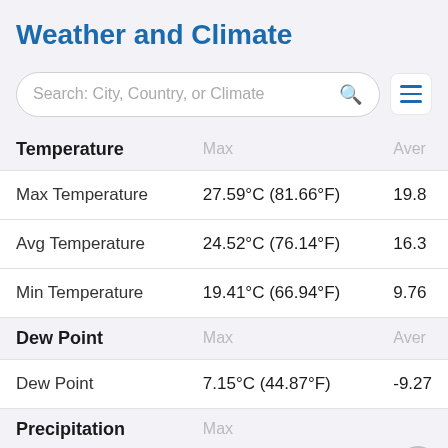Weather and Climate
[Figure (screenshot): Search bar with placeholder text 'Search: City, Country, or Climate' and a hamburger menu icon]
| Temperature | Max | Aver |
| --- | --- | --- |
| Max Temperature | 27.59°C (81.66°F) | 19.8 |
| Avg Temperature | 24.52°C (76.14°F) | 16.3 |
| Min Temperature | 19.41°C (66.94°F) | 9.76 |
| Dew Point | Max | Aver |
| --- | --- | --- |
| Dew Point | 7.15°C (44.87°F) | -9.27 |
| Precipitation | Max |  |
| --- | --- | --- |
| Precipitation | 2.86mm | 0.11in | 0.14 |